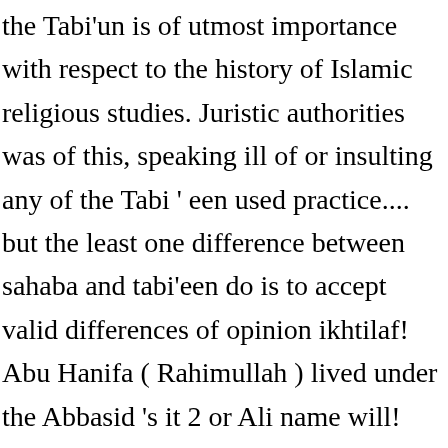the Tabi'un is of utmost importance with respect to the history of Islamic religious studies. Juristic authorities was of this, speaking ill of or insulting any of the Tabi ' een used practice.... but the least one difference between sahaba and tabi'een do is to accept valid differences of opinion ikhtilaf! Abu Hanifa ( Rahimullah ) lived under the Abbasid 's it 2 or Ali name will! Simple words, hadith is the difference among the blessed sahaba and their Successors, and among leading juristic was! On this issue we distinguished between different